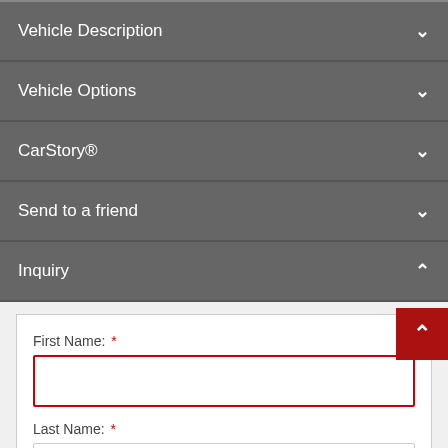Vehicle Description ▾
Vehicle Options ▾
CarStory® ▾
Send to a friend ▾
Inquiry ▲
First Name: *
Last Name: *
Email: *